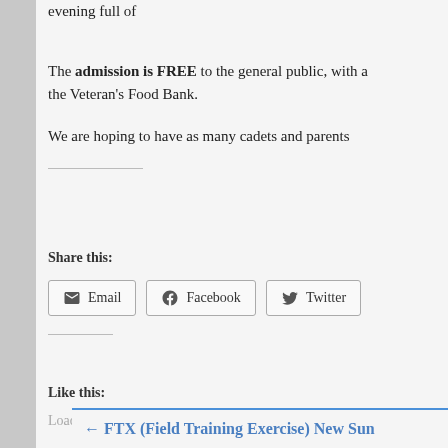evening full of
The admission is FREE to the general public, with a the Veteran's Food Bank.
We are hoping to have as many cadets and parents
Share this:
Email
Facebook
Twitter
Like this:
Loading...
Bookmark the permalink.
← FTX (Field Training Exercise) New Sun